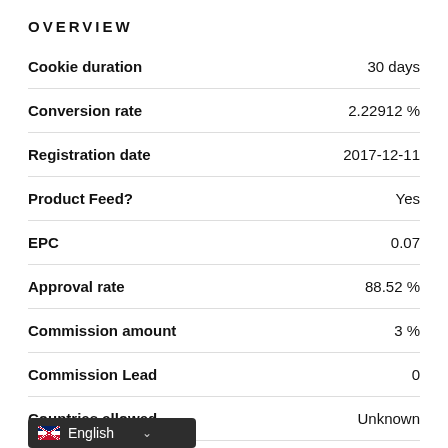OVERVIEW
| Field | Value |
| --- | --- |
| Cookie duration | 30 days |
| Conversion rate | 2.22912 % |
| Registration date | 2017-12-11 |
| Product Feed? | Yes |
| EPC | 0.07 |
| Approval rate | 88.52 % |
| Commission amount | 3 % |
| Commission Lead | 0 |
| Countries allowed | Unknown |